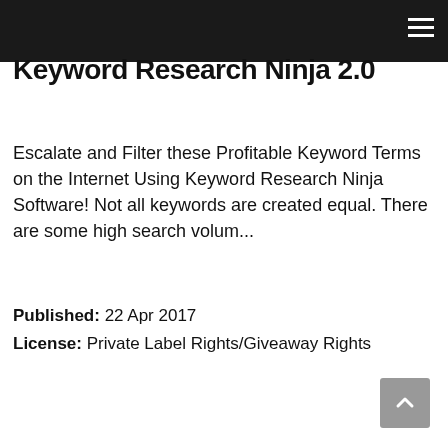☰
Keyword Research Ninja 2.0
Escalate and Filter these Profitable Keyword Terms on the Internet Using Keyword Research Ninja Software! Not all keywords are created equal. There are some high search volum...
Published: 22 Apr 2017
License: Private Label Rights/Giveaway Rights